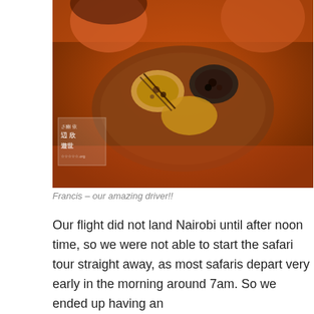[Figure (photo): Overhead photo of people dining around a round wooden table with multiple dishes, warm orange/amber lighting, with a small watermark logo in the lower left corner of the image.]
Francis – our amazing driver!!
Our flight did not land Nairobi until after noon time, so we were not able to start the safari tour straight away, as most safaris depart very early in the morning around 7am. So we ended up having an
Privacy & Cookies: This site uses cookies. By continuing to use this website, you agree to their use.
To find out more, including how to control cookies, see here: Cookie Policy
Close and accept